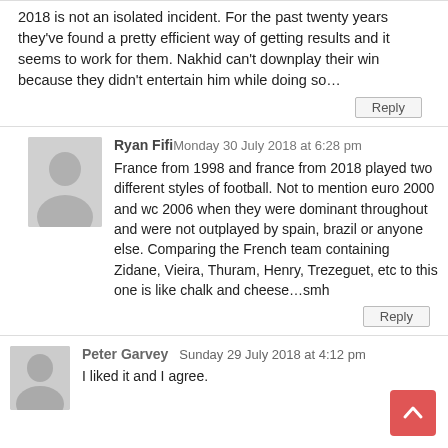2018 is not an isolated incident. For the past twenty years they've found a pretty efficient way of getting results and it seems to work for them. Nakhid can't downplay their win because they didn't entertain him while doing so…
Ryan Fifi Monday 30 July 2018 at 6:28 pm
France from 1998 and france from 2018 played two different styles of football. Not to mention euro 2000 and wc 2006 when they were dominant throughout and were not outplayed by spain, brazil or anyone else. Comparing the French team containing Zidane, Vieira, Thuram, Henry, Trezeguet, etc to this one is like chalk and cheese…smh
Peter Garvey Sunday 29 July 2018 at 4:12 pm
I liked it and I agree.